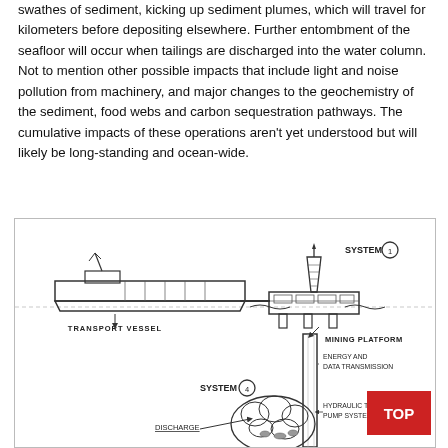swathes of sediment, kicking up sediment plumes, which will travel for kilometers before depositing elsewhere. Further entombment of the seafloor will occur when tailings are discharged into the water column. Not to mention other possible impacts that include light and noise pollution from machinery, and major changes to the geochemistry of the sediment, food webs and carbon sequestration pathways. The cumulative impacts of these operations aren't yet understood but will likely be long-standing and ocean-wide.
[Figure (schematic): Engineering schematic of deep-sea mining system showing: a transport vessel on the ocean surface connected to a mining platform (SYSTEM 1) with a drilling tower. Below the platform, a riser pipe carries ENERGY AND DATA TRANSMISSION and a HYDRAULIC TRANSPORT PUMP SYSTEM down to a seafloor mining collector (SYSTEM 4). Arrows indicate DISCHARGE on the seafloor. Labels: TRANSPORT VESSEL, MINING PLATFORM, SYSTEM 1, SYSTEM 4, ENERGY AND DATA TRANSMISSION, HYDRAULIC TRANSPORT PUMP SYSTEM, DISCHARGE.]